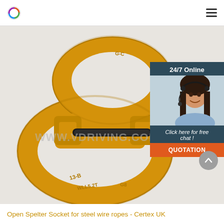Certex UK navigation header
[Figure (photo): Close-up photograph of a yellow painted steel chain connector / master link component (Open Spelter Socket for steel wire ropes) on a light background, with watermark text 'WWW.VDRIGGING.COM'. A small inset chat widget overlay in the top-right corner shows '24/7 Online', a smiling female customer service agent wearing a headset, text 'Click here for free chat!', and an orange 'QUOTATION' button.]
Open Spelter Socket for steel wire ropes - Certex UK